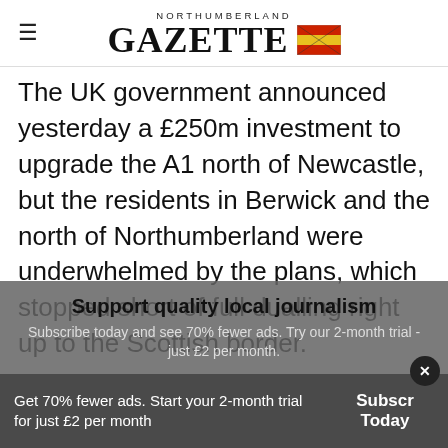NORTHUMBERLAND GAZETTE
The UK government announced yesterday a £250m investment to upgrade the A1 north of Newcastle, but the residents in Berwick and the north of Northumberland were underwhelmed by the plans, which stopped short of full dualling right up to the Scottish border.
Support quality local journalism
Subscribe today and see 70% fewer ads. Try our 2-month trial - just £2 per month.
Get 70% fewer ads. Start your 2-month trial for just £2 per month
Subscribe Today